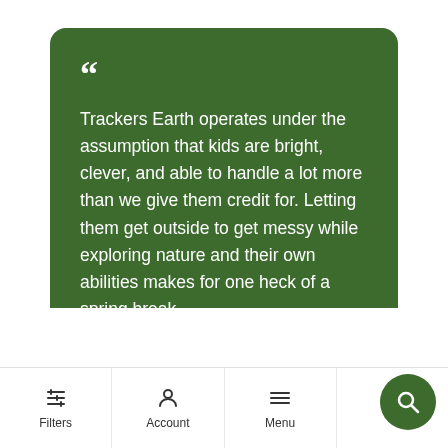[Figure (infographic): Green rounded speech bubble card with large quotation marks, quote text about Trackers Earth, and Red Tricycle brand logo at bottom]
Trackers Earth operates under the assumption that kids are bright, clever, and able to handle a lot more than we give them credit for. Letting them get outside to get messy while exploring nature and their own abilities makes for one heck of a spring break.
[Figure (logo): Red Tricycle logo: tricycle icon followed by RED TRICYCLE text in white uppercase on green background]
Filters   Account   Menu   Chat